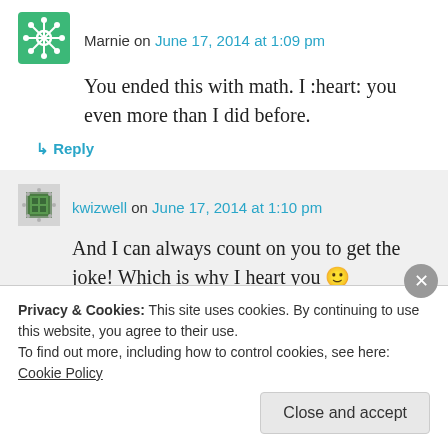Marnie on June 17, 2014 at 1:09 pm
You ended this with math. I :heart: you even more than I did before.
↳ Reply
kwizwell on June 17, 2014 at 1:10 pm
And I can always count on you to get the joke! Which is why I heart you 🙂
Privacy & Cookies: This site uses cookies. By continuing to use this website, you agree to their use. To find out more, including how to control cookies, see here: Cookie Policy
Close and accept